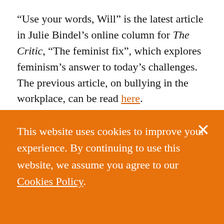“Use your words, Will” is the latest article in Julie Bindel’s online column for The Critic, “The feminist fix”, which explores feminism’s answer to today’s challenges. The previous article, on bullying in the workplace, can be read here.
As the ruckus about Chris Rock and Will Smith rages away, so do feminists. Men using viol... intimidation against the...
This website uses cookies to improve your experience. By continuing to use this website, we assume you agree to our Cookies Policy.